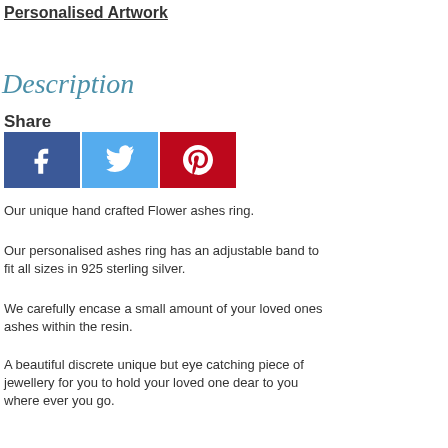Personalised Artwork
Description
Share
[Figure (other): Social media share buttons: Facebook (blue), Twitter (light blue), Pinterest (red)]
Our unique hand crafted Flower ashes ring.
Our personalised ashes ring has an adjustable band to fit all sizes in 925 sterling silver.
We carefully encase a small amount of your loved ones ashes within the resin.
A beautiful discrete unique but eye catching piece of jewellery for you to hold your loved one dear to you where ever you go.